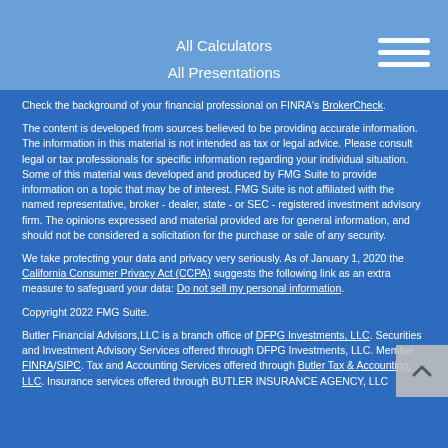All Calculators
All Presentations
Check the background of your financial professional on FINRA's BrokerCheck.
The content is developed from sources believed to be providing accurate information. The information in this material is not intended as tax or legal advice. Please consult legal or tax professionals for specific information regarding your individual situation. Some of this material was developed and produced by FMG Suite to provide information on a topic that may be of interest. FMG Suite is not affiliated with the named representative, broker - dealer, state - or SEC - registered investment advisory firm. The opinions expressed and material provided are for general information, and should not be considered a solicitation for the purchase or sale of any security.
We take protecting your data and privacy very seriously. As of January 1, 2020 the California Consumer Privacy Act (CCPA) suggests the following link as an extra measure to safeguard your data: Do not sell my personal information.
Copyright 2022 FMG Suite.
Butler Financial Advisors,LLC is a branch office of DFPG Investments, LLC. Securities and Investment Advisory Services offered through DFPG Investments, LLC. Member FINRA/SIPC. Tax and Accounting Services offered through Butler Tax & Accounting, LLC. Insurance services offered through BUTLER INSURANCE AGENCY, LLC.